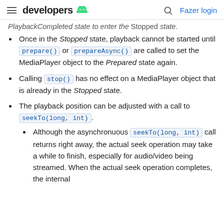developers [android logo] [search] Fazer login
PlaybackCompleted state to enter the Stopped state.
Once in the Stopped state, playback cannot be started until prepare() or prepareAsync() are called to set the MediaPlayer object to the Prepared state again.
Calling stop() has no effect on a MediaPlayer object that is already in the Stopped state.
The playback position can be adjusted with a call to seekTo(long, int).
Although the asynchronuous seekTo(long, int) call returns right away, the actual seek operation may take a while to finish, especially for audio/video being streamed. When the actual seek operation completes, the internal